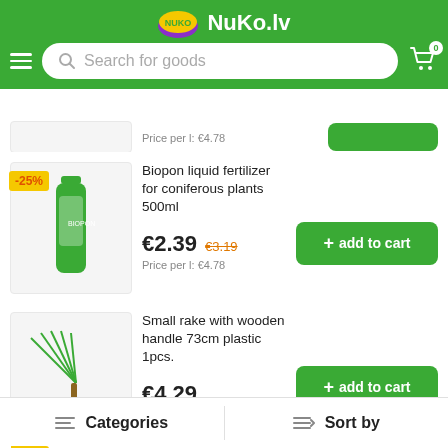NuKo.lv
Price per l: €4.78
Biopon liquid fertilizer for coniferous plants 500ml
€2.39 €3.19
Price per l: €4.78
Small rake with wooden handle 73cm plastic 1pcs.
€4.29
Price per qty: €4.29
Biopon liquid fertilizer for orchids 500ml
Categories   Sort by